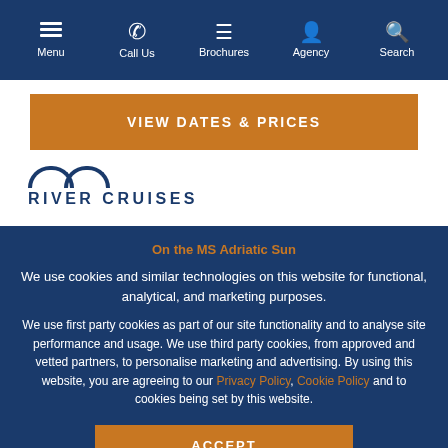Menu | Call Us | Brochures | Agency | Search
VIEW DATES & PRICES
[Figure (logo): AMA River Cruises logo with arc lines above text]
Split, Dubrovnik & the Splendours of Dalmatia Yacht Cruise
On the MS Adriatic Sun
We use cookies and similar technologies on this website for functional, analytical, and marketing purposes.
We use first party cookies as part of our site functionality and to analyse site performance and usage. We use third party cookies, from approved and vetted partners, to personalise marketing and advertising. By using this website, you are agreeing to our Privacy Policy, Cookie Policy and to cookies being set by this website.
ACCEPT
Split, Dubrovnik & the Splendou